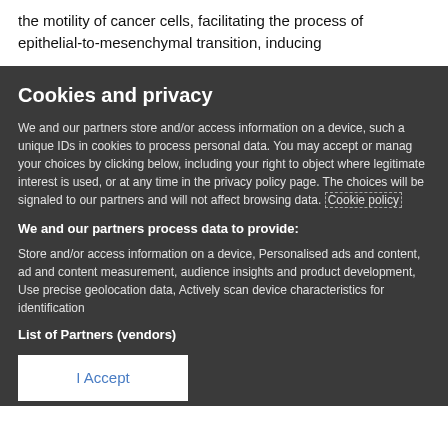the motility of cancer cells, facilitating the process of epithelial-to-mesenchymal transition, inducing
Cookies and privacy
We and our partners store and/or access information on a device, such a unique IDs in cookies to process personal data. You may accept or manag your choices by clicking below, including your right to object where legitimate interest is used, or at any time in the privacy policy page. The choices will be signaled to our partners and will not affect browsing data. Cookie policy
We and our partners process data to provide:
Store and/or access information on a device, Personalised ads and content, ad and content measurement, audience insights and product development, Use precise geolocation data, Actively scan device characteristics for identification
List of Partners (vendors)
I Accept